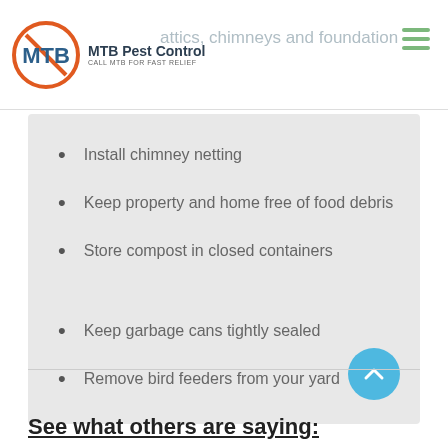MTB Pest Control — CALL MTB FOR FAST RELIEF — attics, chimneys and foundation
Install chimney netting
Keep property and home free of food debris
Store compost in closed containers
Keep garbage cans tightly sealed
Remove bird feeders from your yard
See what others are saying: